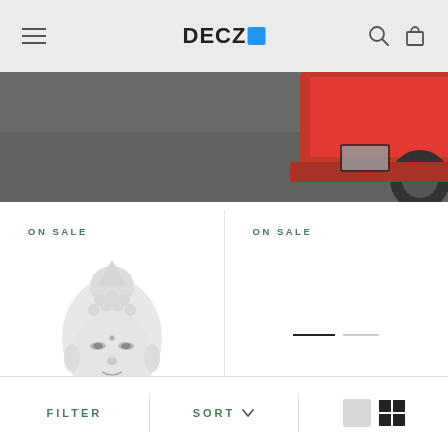DECZO — navigation header with menu, logo, search, and cart icons
[Figure (photo): Hero banner showing bottom portion of a red vehicle on dark pavement background]
ON SALE
[Figure (photo): White/silver Buddha head statue product image on white background]
ON SALE
[Figure (other): Horizontal progress indicator with one active dark bar and one lighter bar]
FILTER   SORT ∨   [view toggle icons]